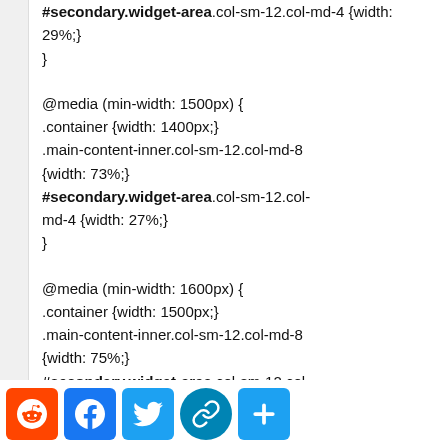#secondary.widget-area.col-sm-12.col-md-4 {width: 29%;}
}
@media (min-width: 1500px) {
.container {width: 1400px;}
.main-content-inner.col-sm-12.col-md-8 {width: 73%;}
#secondary.widget-area.col-sm-12.col-md-4 {width: 27%;}
}
@media (min-width: 1600px) {
.container {width: 1500px;}
.main-content-inner.col-sm-12.col-md-8 {width: 75%;}
#secondary.widget-area.col-sm-12.col-md-4 {width: 25%;}
}